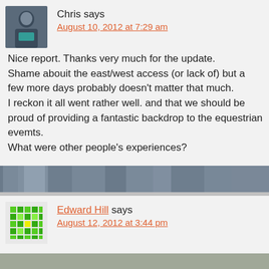[Figure (photo): Avatar photo of Chris, a person wearing a jacket with teal detail, cropped portrait]
Chris says
August 10, 2012 at 7:29 am
Nice report. Thanks very much for the update.
Shame abouit the east/west access (or lack of) but a few more days probably doesn't matter that much.
I reckon it all went rather well. and that we should be proud of providing a fantastic backdrop to the equestrian evemts.
What were other people's experiences?
[Figure (illustration): Green pixelated/mosaic avatar icon for Edward Hill]
Edward Hill says
August 12, 2012 at 3:44 pm